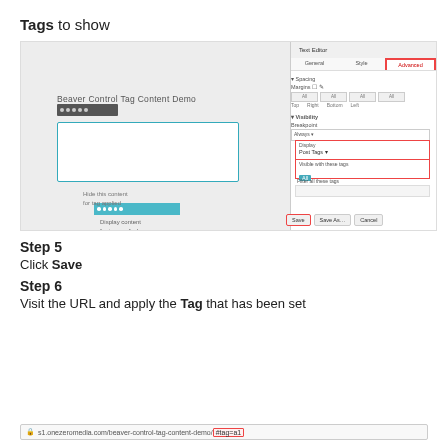Tags to show
[Figure (screenshot): Screenshot of Beaver Builder page editor showing a Text Editor panel with Advanced tab selected. The right sidebar shows Display set to 'Post Tags' and 'Visible with these tags' field with 'All' option. Several sections are outlined in red highlight boxes. The left canvas shows a demo content block with blue toolbar.]
Step 5
Click Save
Step 6
Visit the URL and apply the Tag that has been set
[Figure (screenshot): Browser address bar showing URL: s1.onezeromedia.com/beaver-control-tag-content-demo/#tag=a1 with the #tag=a1 portion highlighted in red/pink box]